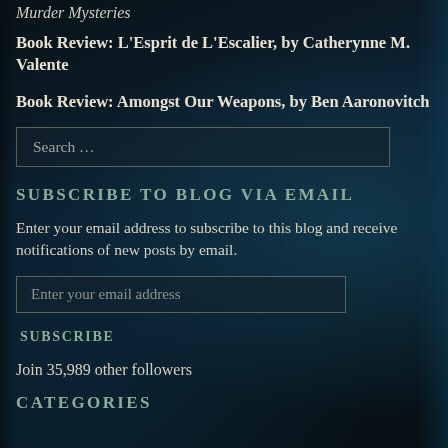Murder Mysteries
Book Review: L'Esprit de L'Escalier, by Catherynne M. Valente
Book Review: Amongst Our Weapons, by Ben Aaronovitch
Search ...
SUBSCRIBE TO BLOG VIA EMAIL
Enter your email address to subscribe to this blog and receive notifications of new posts by email.
Enter your email address
SUBSCRIBE
Join 35,989 other followers
CATEGORIES